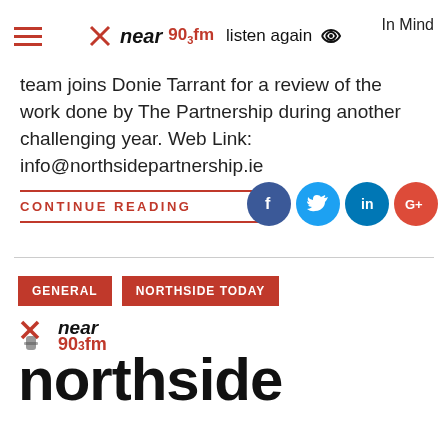near90.3fm listen again | In Mind
team joins Donie Tarrant for a review of the work done by The Partnership during another challenging year. Web Link: info@northsidepartnership.ie
CONTINUE READING
[Figure (logo): Social media icons: Facebook (blue), Twitter (light blue), LinkedIn (dark blue), Google+ (red)]
[Figure (logo): Near 90.3fm Northside Today logo with red X mark and stylized lettering]
GENERAL
NORTHSIDE TODAY